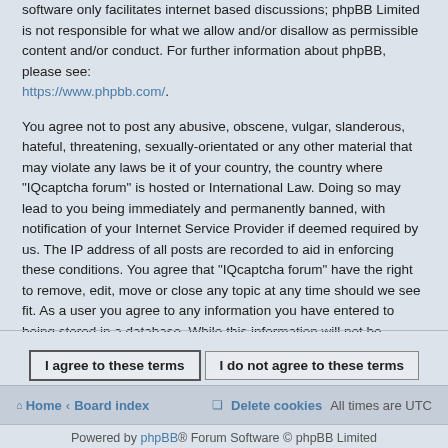software only facilitates internet based discussions; phpBB Limited is not responsible for what we allow and/or disallow as permissible content and/or conduct. For further information about phpBB, please see: https://www.phpbb.com/.
You agree not to post any abusive, obscene, vulgar, slanderous, hateful, threatening, sexually-orientated or any other material that may violate any laws be it of your country, the country where "IQcaptcha forum" is hosted or International Law. Doing so may lead to you being immediately and permanently banned, with notification of your Internet Service Provider if deemed required by us. The IP address of all posts are recorded to aid in enforcing these conditions. You agree that "IQcaptcha forum" have the right to remove, edit, move or close any topic at any time should we see fit. As a user you agree to any information you have entered to being stored in a database. While this information will not be disclosed to any third party without your consent, neither "IQcaptcha forum" nor phpBB shall be held responsible for any hacking attempt that may lead to the data being compromised.
I agree to these terms | I do not agree to these terms
Home · Board index | Delete cookies All times are UTC
Powered by phpBB® Forum Software © phpBB Limited
Privacy | Terms